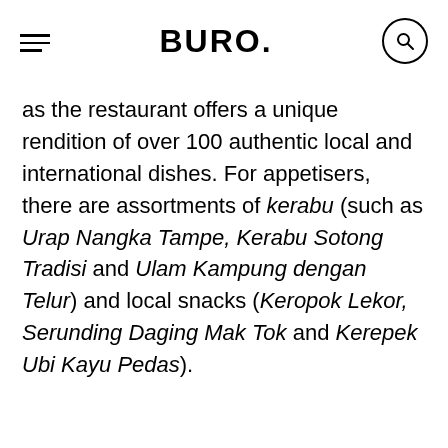BURO.
as the restaurant offers a unique rendition of over 100 authentic local and international dishes. For appetisers, there are assortments of kerabu (such as Urap Nangka Tampe, Kerabu Sotong Tradisi and Ulam Kampung dengan Telur) and local snacks (Keropok Lekor, Serunding Daging Mak Tok and Kerepek Ubi Kayu Pedas).